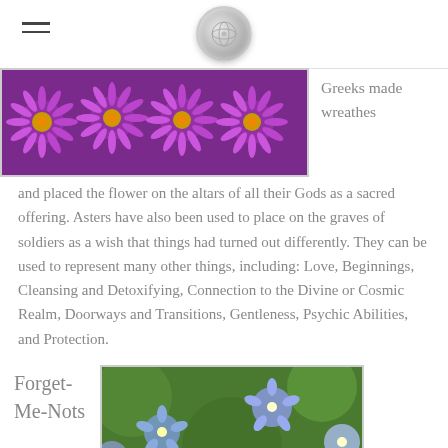[Navigation header with hamburger menu and circular logo]
[Figure (photo): Close-up photo of purple/violet aster flowers with yellow centers filling a horizontal banner]
Greeks made wreathes and placed the flower on the altars of all their Gods as a sacred offering. Asters have also been used to place on the graves of soldiers as a wish that things had turned out differently. They can be used to represent many other things, including: Love, Beginnings, Cleansing and Detoxifying, Connection to the Divine or Cosmic Realm, Doorways and Transitions, Gentleness, Psychic Abilities, and Protection.
Forget-Me-Nots
[Figure (photo): Close-up photo of small blue forget-me-not flowers with green background bokeh]